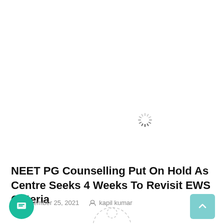[Figure (other): Loading spinner icon (circular dashed spinner) in upper center of page]
NEET PG Counselling Put On Hold As Centre Seeks 4 Weeks To Revisit EWS Criteria
November 25, 2021   kapil kumar